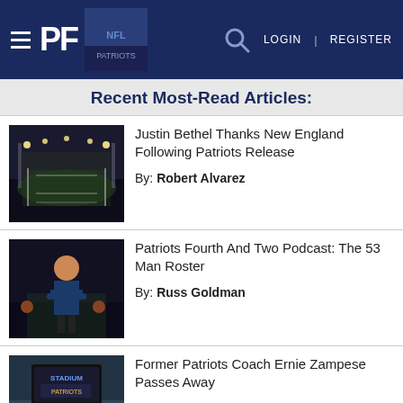PF — LOGIN | REGISTER
Recent Most-Read Articles:
[Figure (photo): Aerial night view of a football stadium with lights]
Justin Bethel Thanks New England Following Patriots Release
By: Robert Alvarez
[Figure (photo): A football coach with arms crossed on the sideline]
Patriots Fourth And Two Podcast: The 53 Man Roster
By: Russ Goldman
[Figure (photo): Stadium scoreboard display]
Former Patriots Coach Ernie Zampese Passes Away
By: Robert Alvarez
VIDEO: Do Your Job – How the Patriots Prepare For